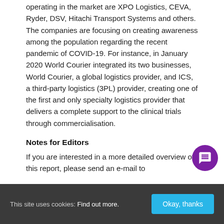operating in the market are XPO Logistics, CEVA, Ryder, DSV, Hitachi Transport Systems and others. The companies are focusing on creating awareness among the population regarding the recent pandemic of COVID-19. For instance, in January 2020 World Courier integrated its two businesses, World Courier, a global logistics provider, and ICS, a third-party logistics (3PL) provider, creating one of the first and only specialty logistics provider that delivers a complete support to the clinical trials through commercialisation.
Notes for Editors
If you are interested in a more detailed overview of this report, please send an e-mail to
This site uses cookies: Find out more.   Okay, thanks